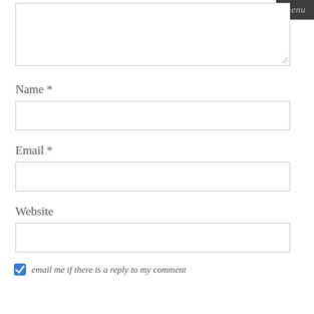[Figure (screenshot): Web form UI showing a textarea (partially visible at top), followed by labeled input fields for Name, Email, and Website, with a checkbox at the bottom labeled 'email me if there is a reply to my comment'. A dark 'menu' button appears in the top-right corner.]
Name *
Email *
Website
email me if there is a reply to my comment